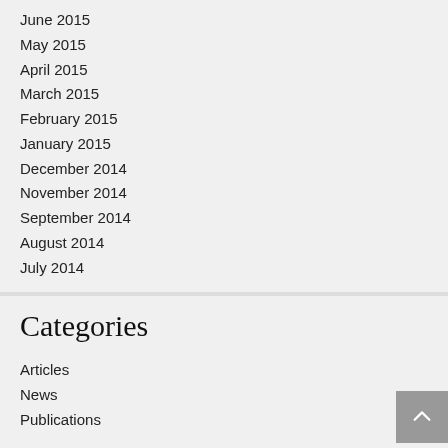June 2015
May 2015
April 2015
March 2015
February 2015
January 2015
December 2014
November 2014
September 2014
August 2014
July 2014
Categories
Articles
News
Publications